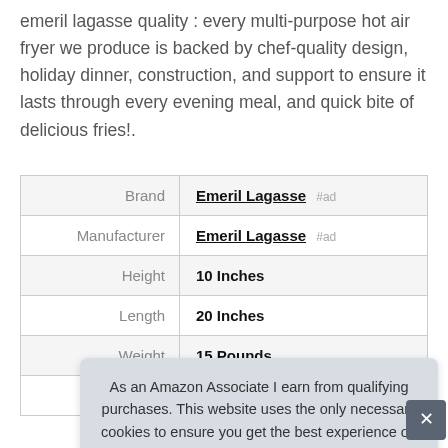emeril lagasse quality : every multi-purpose hot air fryer we produce is backed by chef-quality design, holiday dinner, construction, and support to ensure it lasts through every evening meal, and quick bite of delicious fries!.
|  |  |
| --- | --- |
| Brand | Emeril Lagasse #ad |
| Manufacturer | Emeril Lagasse #ad |
| Height | 10 Inches |
| Length | 20 Inches |
| Weight | 15 Pounds |
| P |  |
As an Amazon Associate I earn from qualifying purchases. This website uses the only necessary cookies to ensure you get the best experience on our website. More information